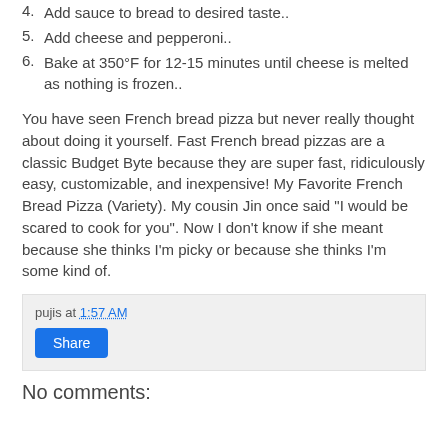4. Add sauce to bread to desired taste..
5. Add cheese and pepperoni..
6. Bake at 350°F for 12-15 minutes until cheese is melted as nothing is frozen..
You have seen French bread pizza but never really thought about doing it yourself. Fast French bread pizzas are a classic Budget Byte because they are super fast, ridiculously easy, customizable, and inexpensive! My Favorite French Bread Pizza (Variety). My cousin Jin once said "I would be scared to cook for you". Now I don't know if she meant because she thinks I'm picky or because she thinks I'm some kind of.
pujis at 1:57 AM
Share
No comments: